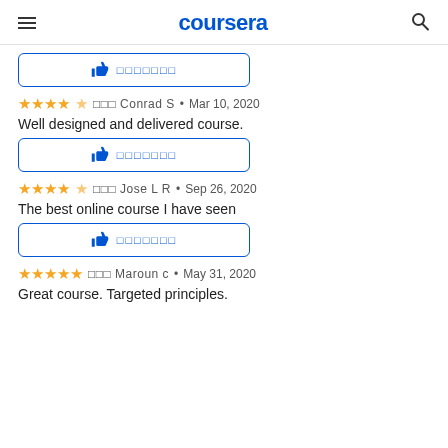coursera
[Figure (other): Helpful thumbs-up button with redacted text (first instance, partial)]
☆☆☆☆☆  ▣▣▣ Conrad S • Mar 10, 2020
Well designed and delivered course.
[Figure (other): Helpful thumbs-up button with redacted text (second instance)]
☆☆☆☆☆  ▣▣▣ Jose L R • Sep 26, 2020
The best online course I have seen
[Figure (other): Helpful thumbs-up button with redacted text (third instance)]
☆☆☆☆☆  ▣▣▣ Maroun c • May 31, 2020
Great course. Targeted principles.